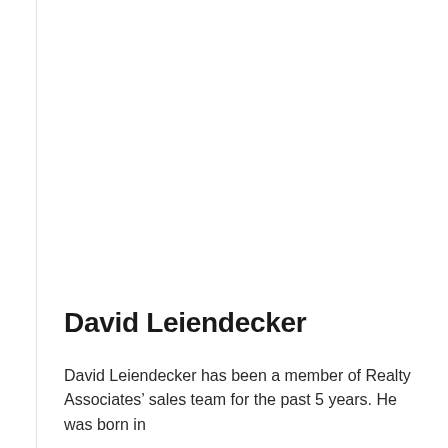David Leiendecker
David Leiendecker has been a member of Realty Associates’ sales team for the past 5 years. He was born in